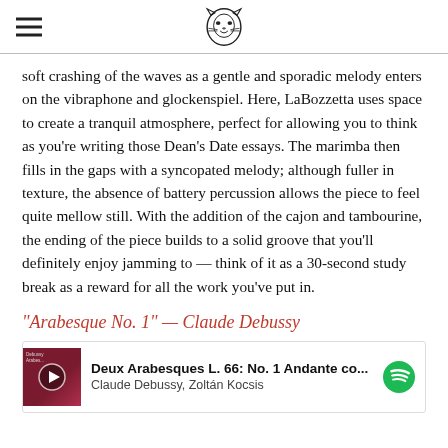[hamburger menu icon] [publication logo]
soft crashing of the waves as a gentle and sporadic melody enters on the vibraphone and glockenspiel. Here, LaBozzetta uses space to create a tranquil atmosphere, perfect for allowing you to think as you’re writing those Dean’s Date essays. The marimba then fills in the gaps with a syncopated melody; although fuller in texture, the absence of battery percussion allows the piece to feel quite mellow still. With the addition of the cajon and tambourine, the ending of the piece builds to a solid groove that you’ll definitely enjoy jamming to — think of it as a 30-second study break as a reward for all the work you’ve put in.
“Arabesque No. 1” — Claude Debussy
[Figure (screenshot): Spotify player embed showing 'Deux Arabesques L. 66: No. 1 Andante co...' by Claude Debussy, Zoltán Kocsis, with album art (dark red/maroon cover), play button, and Spotify logo.]